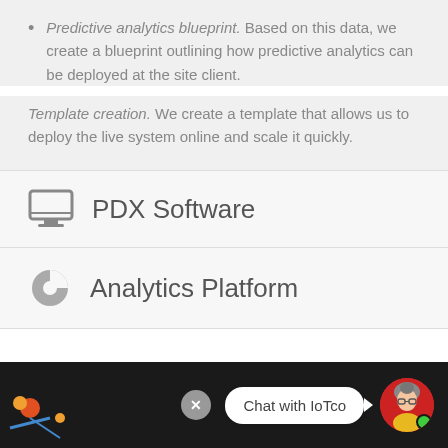Predictive analytics blueprint. Based on this data, we create a blueprint outlining how predictive analytics can be deployed at the site client.
Template creation. We create a template that allows us to deploy the live system online and scale it quickly.
PDX Software
Analytics Platform
[Figure (screenshot): Bottom chat bar with 'Chat with IoTco' bubble, close button, and avatar with green online indicator, on dark background with partial illustration at bottom-left]